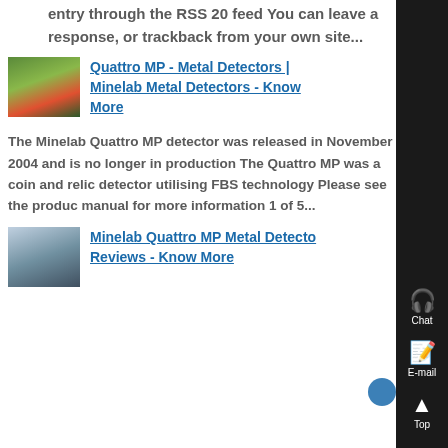entry through the RSS 20 feed You can leave a response, or trackback from your own site...
[Figure (photo): Thumbnail image showing green netting/mesh with a dark rod, related to metal detecting]
Quattro MP - Metal Detectors | Minelab Metal Detectors - Know More
The Minelab Quattro MP detector was released in November 2004 and is no longer in production The Quattro MP was a coin and relic detector utilising FBS technology Please see the product manual for more information 1 of 5...
[Figure (photo): Thumbnail image showing metal coil/cable, related to Minelab metal detector]
Minelab Quattro MP Metal Detector Reviews - Know More